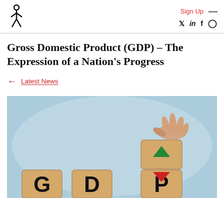Sign Up | social icons: Twitter, LinkedIn, Facebook, Instagram
Gross Domestic Product (GDP) – The Expression of a Nation's Progress
← Latest News
[Figure (photo): A hand placing a wooden cube with a green upward arrow on top of another cube with a red downward arrow, with wooden blocks spelling 'GDP' in the foreground against a light blue background.]